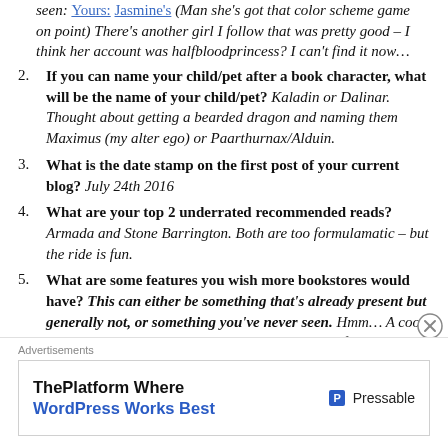seen: Yours: Jasmine's (Man she's got that color scheme game on point) There's another girl I follow that was pretty good – I think her account was halfbloodprincess? I can't find it now…
2. If you can name your child/pet after a book character, what will be the name of your child/pet? Kaladin or Dalinar. Thought about getting a bearded dragon and naming them Maximus (my alter ego) or Paarthurnax/Alduin.
3. What is the date stamp on the first post of your current blog? July 24th 2016
4. What are your top 2 underrated recommended reads? Armada and Stone Barrington. Both are too formulamatic – but the ride is fun.
5. What are some features you wish more bookstores would have? This can either be something that's already present but generally not, or something you've never seen. Hmm… A cool lounge would be sweet. A place with amazing craft beer!
Advertisements
[Figure (other): Pressable advertisement: ThePlatform Where WordPress Works Best]